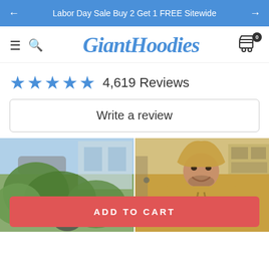← Labor Day Sale Buy 2 Get 1 FREE Sitewide →
[Figure (logo): GiantHoodies logo with hamburger menu, search icon, and cart icon with badge showing 0]
★★★★★ 4,619 Reviews
Write a review
[Figure (photo): Two customer review photos side by side: left shows person with plants outdoors, right shows man wearing yellow giant hoodie indoors smiling]
ADD TO CART